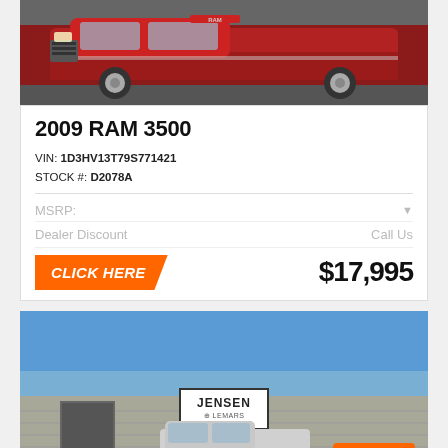[Figure (photo): Red 2009 RAM 3500 pickup truck, side view]
2009 RAM 3500
VIN: 1D3HV13T79S771421
STOCK #: D2078A
MSRP:
Dealer Discount    Call Us
CLICK HERE   $17,995
[Figure (photo): Jensen LeMars dealership exterior with white pickup truck parked in front]